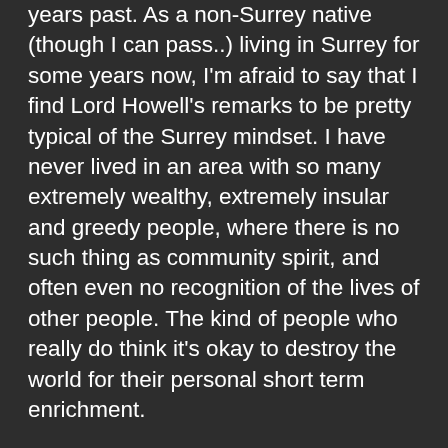years past. As a non-Surrey native (though I can pass..) living in Surrey for some years now, I'm afraid to say that I find Lord Howell's remarks to be pretty typical of the Surrey mindset. I have never lived in an area with so many extremely wealthy, extremely insular and greedy people, where there is no such thing as community spirit, and often even no recognition of the lives of other people. The kind of people who really do think it's okay to destroy the world for their personal short term enrichment.
Surrey is a place where it's a fairly common sight to see people drive their Ferrari to the local shops to pick up a pint of milk and a newspaper. It's a place of spoiled children who believe (probably rightly) that it is their birthright to live an easy, affluent life. Surrey is a place full of people driving to the station in their Porsche (the Ferrari are just for the weekend) to take the train to London for their non-job, enriching investors and shareholders but usually providing absolutely no service or benefit to society.
I could come up with a hundred small examples of the petty and mean spirited natures I have experienced in Surrey (and